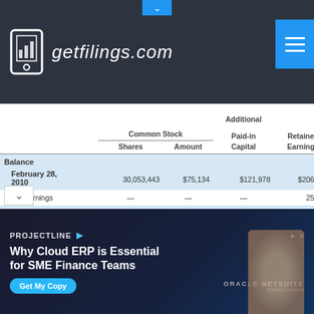getfilings.com
|  | Shares | Amount | Additional Paid-in Capital | Retained Earnings | Accumulated Other Comprehensive Income (Loss) |
| --- | --- | --- | --- | --- | --- |
| Balance February 28, 2010 | 30,053,443 | $75,134 | $121,978 | $206,062 | $ (13,263) |
| Net earnings | — | — | — | 25,169 | — |
| Foreign currency |  |  |  |  |  |